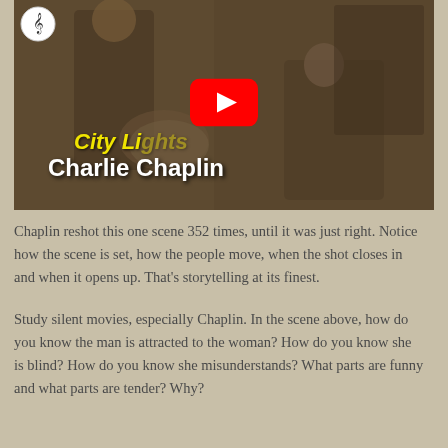[Figure (screenshot): YouTube video thumbnail showing a sepia-toned still from City Lights by Charlie Chaplin. A man and woman are shown. The video has a YouTube play button overlay, yellow italic text 'City Li...' and white bold text 'Charlie Chaplin'. A small logo appears in the top left corner.]
Chaplin reshot this one scene 352 times, until it was just right. Notice how the scene is set, how the people move, when the shot closes in and when it opens up. That's storytelling at its finest.
Study silent movies, especially Chaplin. In the scene above, how do you know the man is attracted to the woman? How do you know she is blind? How do you know she misunderstands? What parts are funny and what parts are tender? Why?